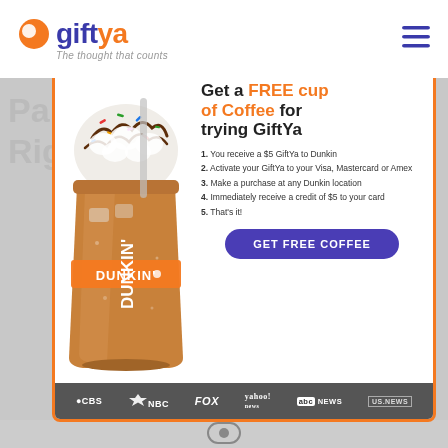giftya — The thought that counts
[Figure (infographic): GiftYa promotional popup ad featuring a Dunkin iced coffee drink with sprinkles and whipped cream. Headline: Get a FREE cup of Coffee for trying GiftYa. Five numbered steps listed. Purple GET FREE COFFEE button. Media logos: CBS, NBC, FOX, yahoo! news, abc NEWS, US.NEWS at bottom.]
Get a FREE cup of Coffee for trying GiftYa
1. You receive a $5 GiftYa to Dunkin
2. Activate your GiftYa to your Visa, Mastercard or Amex
3. Make a purchase at any Dunkin location
4. Immediately receive a credit of $5 to your card
5. That's it!